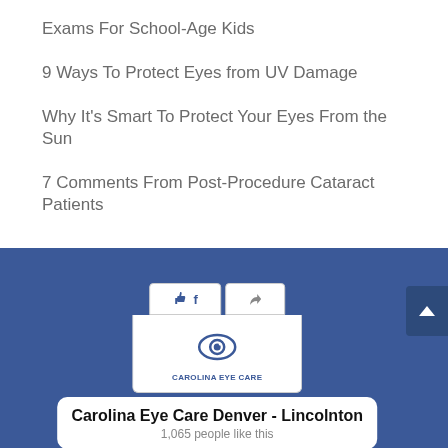Exams For School-Age Kids
9 Ways To Protect Eyes from UV Damage
Why It's Smart To Protect Your Eyes From the Sun
7 Comments From Post-Procedure Cataract Patients
[Figure (screenshot): Facebook page widget for Carolina Eye Care Denver - Lincolnton showing like and share buttons, eye care logo, and 1,065 people like this count]